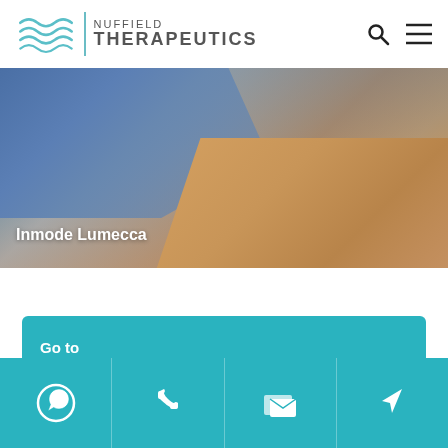[Figure (logo): Nuffield Therapeutics logo with wave graphic and text]
[Figure (photo): Medical professional wearing blue gloves applying treatment device to patient skin - Inmode Lumecca]
Inmode Lumecca
Go to
[Figure (infographic): Bottom navigation bar with four icons: WhatsApp, phone, email/message, and location/navigation]